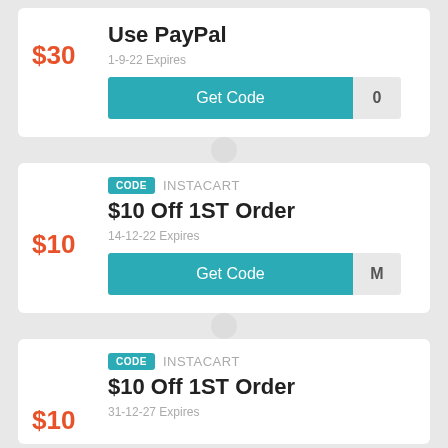$30
Use PayPal
1-9-22 Expires
Get Code
CODE  INSTACART
$10 Off 1ST Order
14-12-22 Expires
$10
Get Code
CODE  INSTACART
$10 Off 1ST Order
31-12-27 Expires